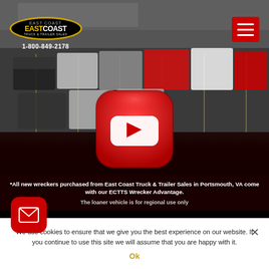[Figure (screenshot): East Coast Truck & Trailer Sales website screenshot showing truck lot aerial view with logo, phone number 1-800-849-2178, hamburger menu, YouTube play button, promotional text, cookie banner, and mail button]
*All new wreckers purchased from East Coast Truck & Trailer Sales in Portsmouth, VA come with our ECTTS Wrecker Advantage.
The loaner vehicle is for regional use only
We use cookies to ensure that we give you the best experience on our website. If you continue to use this site we will assume that you are happy with it.
Ok